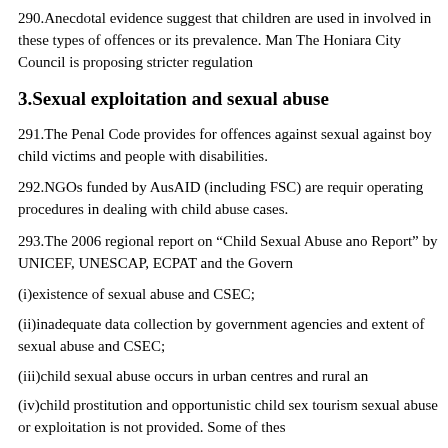290.Anecdotal evidence suggest that children are used in involved in these types of offences or its prevalence. Man The Honiara City Council is proposing stricter regulation
3.Sexual exploitation and sexual abuse
291.The Penal Code provides for offences against sexual against boy child victims and people with disabilities.
292.NGOs funded by AusAID (including FSC) are requir operating procedures in dealing with child abuse cases.
293.The 2006 regional report on “Child Sexual Abuse ano Report” by UNICEF, UNESCAP, ECPAT and the Govern
(i)existence of sexual abuse and CSEC;
(ii)inadequate data collection by government agencies and extent of sexual abuse and CSEC;
(iii)child sexual abuse occurs in urban centres and rural an
(iv)child prostitution and opportunistic child sex tourism sexual abuse or exploitation is not provided. Some of thes